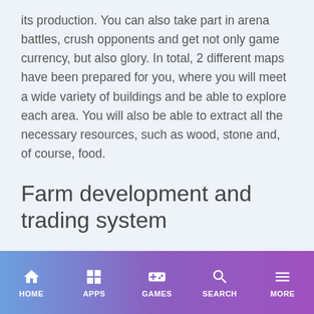its production. You can also take part in arena battles, crush opponents and get not only game currency, but also glory. In total, 2 different maps have been prepared for you, where you will meet a wide variety of buildings and be able to explore each area. You will also be able to extract all the necessary resources, such as wood, stone and, of course, food.
Farm development and trading system
You can also hire workers to go down into the mines and mine for you the necessary resources. After
HOME  APPS  GAMES  SEARCH  MORE